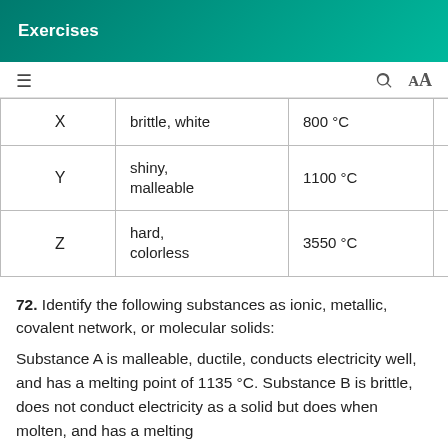Exercises
| Substance | Properties | Melting Point | Conductivity |
| --- | --- | --- | --- |
| X | brittle, white | 800 °C | melts... |
| Y | shiny, malleable | 1100 °C | high |
| Z | hard, colorless | 3550 °C | none |
72. Identify the following substances as ionic, metallic, covalent network, or molecular solids:
Substance A is malleable, ductile, conducts electricity well, and has a melting point of 1135 °C. Substance B is brittle, does not conduct electricity as a solid but does when molten, and has a melting